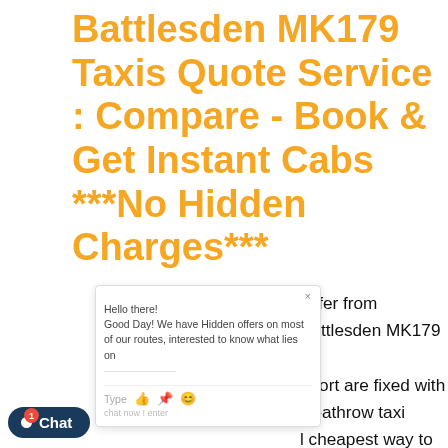Battlesden MK179 Taxis Quote Service : Compare - Book & Get Instant Cabs ***No Hidden Charges***
[Figure (screenshot): Chat widget overlay showing 'Hello there! Good Day! We have Hidden offers on most of our routes, interested to know what lies on...' with a text input bar and icons]
nsfer from Battlesden MK179 to irport are fixed with Heathrow taxi l cheapest way to travel and will and will take around 00:54:00 d it will cost you £61 for saloon car, can book it without any worries as we